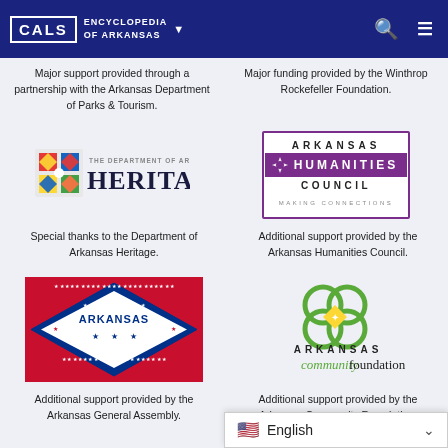CALS ENCYCLOPEDIA OF ARKANSAS
Major support provided through a partnership with the Arkansas Department of Parks & Tourism.
Major funding provided by the Winthrop Rockefeller Foundation.
[Figure (logo): The Department of Arkansas Heritage logo with decorative icon]
Special thanks to the Department of Arkansas Heritage.
[Figure (logo): Arkansas Humanities Council - Making Connections logo with purple border]
Additional support provided by the Arkansas Humanities Council.
[Figure (photo): Arkansas state flag - red with blue diamond, white stars, and ARKANSAS text]
Additional support provided by the Arkansas General Assembly.
[Figure (logo): Arkansas Community Foundation logo with green flower/circles and green/black text]
Additional support provided by the Arkansas Community Foundation.